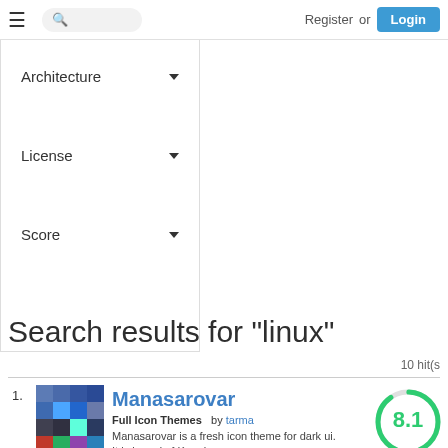Register or Login
Architecture ▼
License ▼
Score ▼
Search results for "linux"
10 hit(s
1. Manasarovar — Full Icon Themes by tarma — Manasarovar is a fresh icon theme for dark ui. It is based on Kora icon — Score: 8.1 — Aug 08 2022